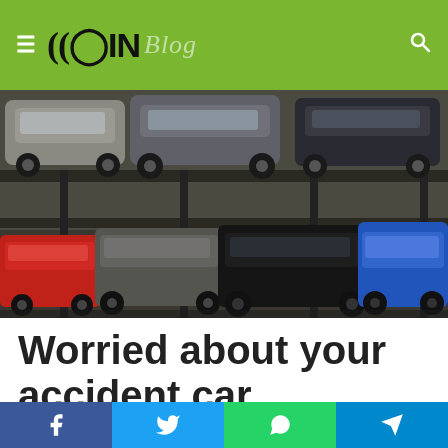≡ GIN Blog
[Figure (photo): Junkyard with stacked and wrecked cars of various colors including red, black, blue, grey, and silver, piled on metal racks.]
Worried about your accident car removal?
Facebook | Twitter | WhatsApp | Telegram social share buttons